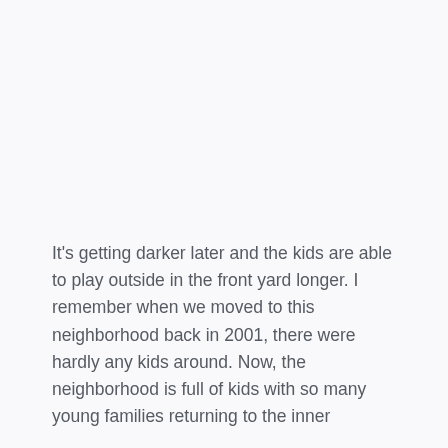It's getting darker later and the kids are able to play outside in the front yard longer. I remember when we moved to this neighborhood back in 2001, there were hardly any kids around. Now, the neighborhood is full of kids with so many young families returning to the inner